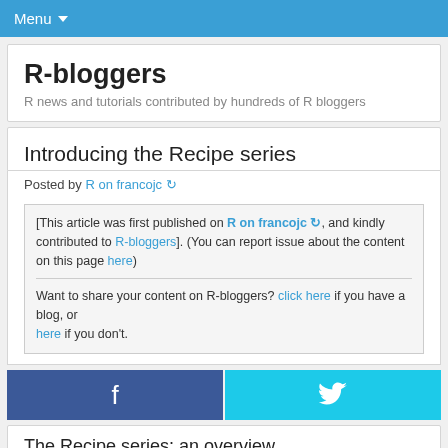Menu ▾
R-bloggers
R news and tutorials contributed by hundreds of R bloggers
Introducing the Recipe series
Posted by R on francojc ↻
[This article was first published on R on francojc ↻, and kindly contributed to R-bloggers]. (You can report issue about the content on this page here)

Want to share your content on R-bloggers? click here if you have a blog, or here if you don't.
[Figure (infographic): Facebook and Twitter share buttons]
The Recipe series: an overview